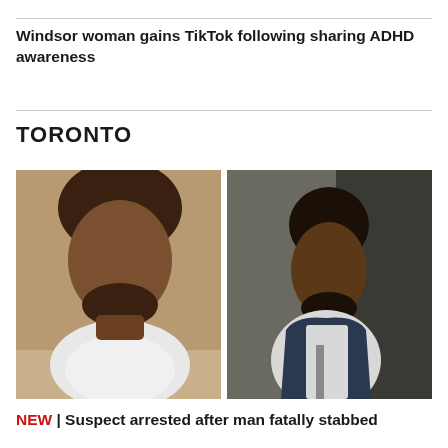Windsor woman gains TikTok following sharing ADHD awareness
TORONTO
[Figure (photo): Two surveillance camera images side by side showing a male suspect. Left image: man with curly hair, beard, wearing a white t-shirt and red strap, looking downward. Right image: same or similar man with short dark hair and beard, wearing a white t-shirt and dark blue vest/jacket, standing in profile.]
NEW | Suspect arrested after man fatally stabbed